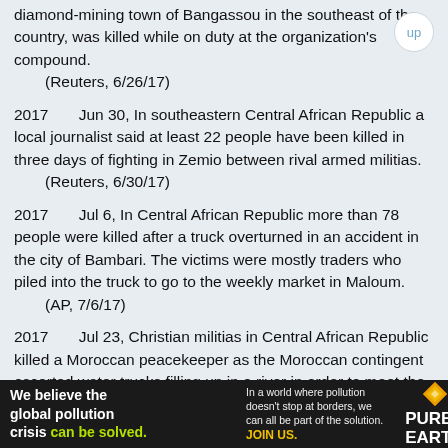diamond-mining town of Bangassou in the southeast of the country, was killed while on duty at the organization's compound.
    (Reuters, 6/26/17)
2017    Jun 30, In southeastern Central African Republic a local journalist said at least 22 people have been killed in three days of fighting in Zemio between rival armed militias.
    (Reuters, 6/30/17)
2017    Jul 6, In Central African Republic more than 78 people were killed after a truck overturned in an accident in the city of Bambari. The victims were mostly traders who piled into the truck to go to the weekly market in Maloum.
    (AP, 7/6/17)
2017    Jul 23, Christian militias in Central African Republic killed a Moroccan peacekeeper as the Moroccan contingent escorted water trucks filling up in a river in order to meet the
[Figure (infographic): Advertisement banner for Pure Earth: 'We believe the global pollution crisis can be solved.' with tagline about pollution not stopping at borders and call to JOIN US.]